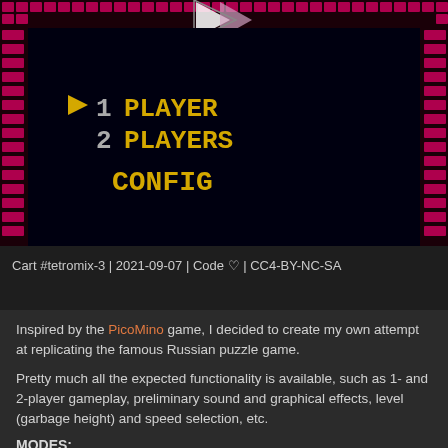[Figure (screenshot): Screenshot of a Tetris-like game menu showing options: ►1 PLAYER, 2 PLAYERS, CONFIG on a black background with pink/red decorative border tiles. A play button triangle is visible at the top center.]
Cart #tetromix-3 | 2021-09-07 | Code ♡ | CC4-BY-NC-SA
Inspired by the PicoMino game, I decided to create my own attempt at replicating the famous Russian puzzle game.
Pretty much all the expected functionality is available, such as 1- and 2-player gameplay, preliminary sound and graphical effects, level (garbage height) and speed selection, etc.
MODES:
The game provides two modes: A (endless) and B (25 lines).
In the A mode, the game continues until any of the players top out (until